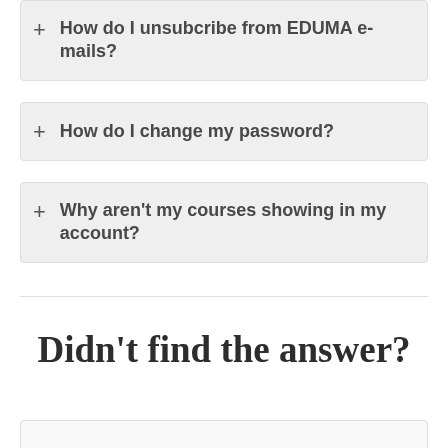+ How do I unsubcribe from EDUMA e-mails?
+ How do I change my password?
+ Why aren't my courses showing in my account?
Didn't find the answer?